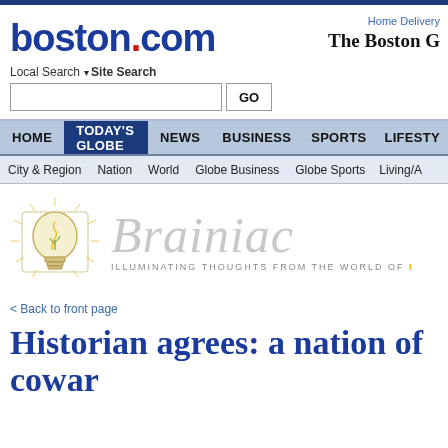[Figure (logo): boston.com logo in blue with red dot]
Home Delivery
The Boston G[lobe]
Local Search  ▾Site Search
[Figure (screenshot): Search input box with GO button]
HOME | TODAY'S GLOBE | NEWS | BUSINESS | SPORTS | LIFESTY[LE]
City & Region | Nation | World | Globe Business | Globe Sports | Living/A[rts]
[Figure (logo): Brainiac blog banner with lightbulb illustration and tagline: ILLUMINATING THOUGHTS FROM THE WORLD OF [IDEAS]]
< Back to front page
Historian agrees: a nation of cowar[ds]